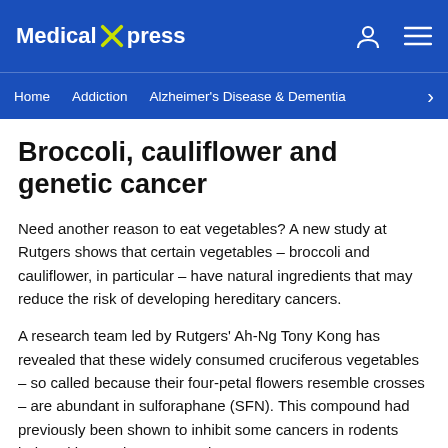Medical Xpress
Home   Addiction   Alzheimer's Disease & Dementia
Broccoli, cauliflower and genetic cancer
Need another reason to eat vegetables? A new study at Rutgers shows that certain vegetables – broccoli and cauliflower, in particular – have natural ingredients that may reduce the risk of developing hereditary cancers.
A research team led by Rutgers' Ah-Ng Tony Kong has revealed that these widely consumed cruciferous vegetables – so called because their four-petal flowers resemble crosses – are abundant in sulforaphane (SFN). This compound had previously been shown to inhibit some cancers in rodents induced by carcinogens – substances